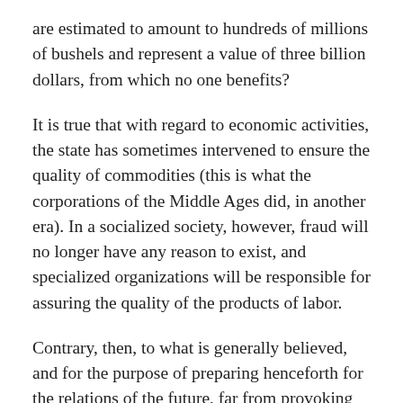are estimated to amount to hundreds of millions of bushels and represent a value of three billion dollars, from which no one benefits?
It is true that with regard to economic activities, the state has sometimes intervened to ensure the quality of commodities (this is what the corporations of the Middle Ages did, in another era). In a socialized society, however, fraud will no longer have any reason to exist, and specialized organizations will be responsible for assuring the quality of the products of labor.
Contrary, then, to what is generally believed, and for the purpose of preparing henceforth for the relations of the future, far from provoking economic collapse and chaos, libertarian socialization will lead to the